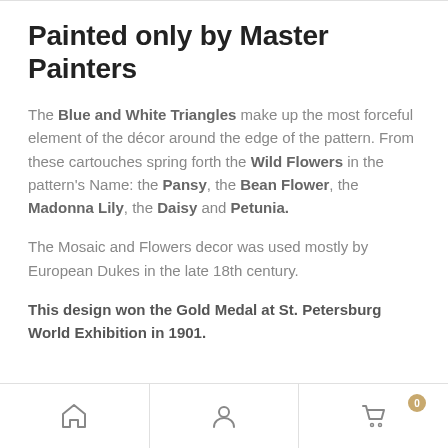Painted only by Master Painters
The Blue and White Triangles make up the most forceful element of the décor around the edge of the pattern. From these cartouches spring forth the Wild Flowers in the pattern's Name: the Pansy, the Bean Flower, the Madonna Lily, the Daisy and Petunia.
The Mosaic and Flowers decor was used mostly by European Dukes in the late 18th century.
This design won the Gold Medal at St. Petersburg World Exhibition in 1901.
[Figure (other): Bottom navigation bar with home icon, user/account icon, and shopping cart icon with badge showing 0]